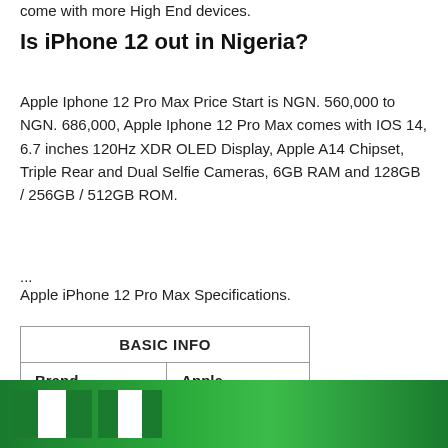come with more High End devices.
Is iPhone 12 out in Nigeria?
Apple Iphone 12 Pro Max Price Start is NGN. 560,000 to NGN. 686,000, Apple Iphone 12 Pro Max comes with IOS 14, 6.7 inches 120Hz XDR OLED Display, Apple A14 Chipset, Triple Rear and Dual Selfie Cameras, 6GB RAM and 128GB / 256GB / 512GB ROM.
...
Apple iPhone 12 Pro Max Specifications.
| BASIC INFO |  |
| --- | --- |
| Brand | Apple |
| EDGE | Yes |
| CAMERA |  |
[Figure (illustration): Nigerian flag banner with green and white colors, bottom of page advertisement banner]